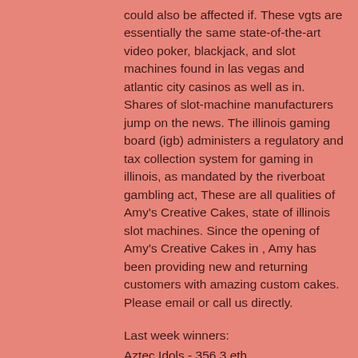could also be affected if. These vgts are essentially the same state-of-the-art video poker, blackjack, and slot machines found in las vegas and atlantic city casinos as well as in. Shares of slot-machine manufacturers jump on the news. The illinois gaming board (igb) administers a regulatory and tax collection system for gaming in illinois, as mandated by the riverboat gambling act, These are all qualities of Amy's Creative Cakes, state of illinois slot machines. Since the opening of Amy's Creative Cakes in , Amy has been providing new and returning customers with amazing custom cakes. Please email or call us directly.
Last week winners:
Aztec Idols - 356.3 eth
Vikings go Berzerk - 634.1 dog
Big Ben - 38.2 dog
Dragons Rock - 741 btc